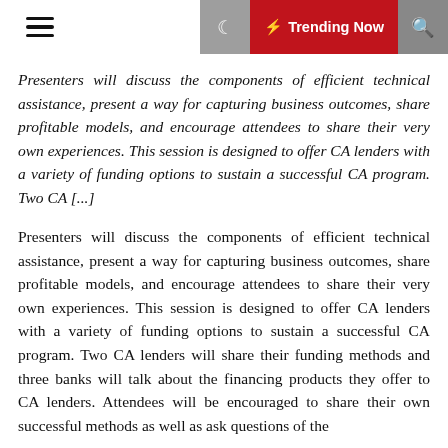☰ ☾ ⚡ Trending Now 🔍
Presenters will discuss the components of efficient technical assistance, present a way for capturing business outcomes, share profitable models, and encourage attendees to share their very own experiences. This session is designed to offer CA lenders with a variety of funding options to sustain a successful CA program. Two CA [...]
Presenters will discuss the components of efficient technical assistance, present a way for capturing business outcomes, share profitable models, and encourage attendees to share their very own experiences. This session is designed to offer CA lenders with a variety of funding options to sustain a successful CA program. Two CA lenders will share their funding methods and three banks will talk about the financing products they offer to CA lenders. Attendees will be encouraged to share their own successful methods as well as ask questions of the